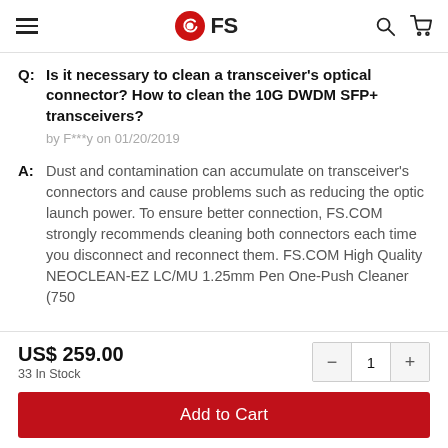FS (logo)
Q: Is it necessary to clean a transceiver's optical connector? How to clean the 10G DWDM SFP+ transceivers?
by F***y on 01/20/2019
A: Dust and contamination can accumulate on transceiver's connectors and cause problems such as reducing the optic launch power. To ensure better connection, FS.COM strongly recommends cleaning both connectors each time you disconnect and reconnect them. FS.COM High Quality NEOCLEAN-EZ LC/MU 1.25mm Pen One-Push Cleaner (750
US$ 259.00
33 In Stock
Add to Cart